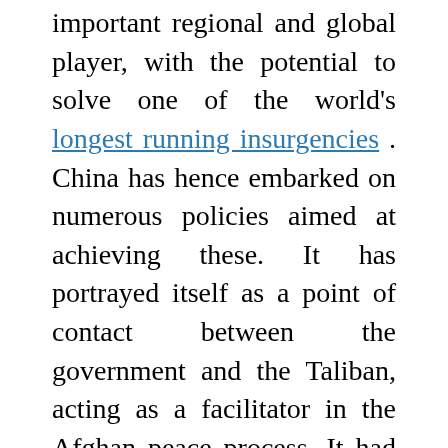important regional and global player, with the potential to solve one of the world's longest running insurgencies . China has hence embarked on numerous policies aimed at achieving these. It has portrayed itself as a point of contact between the government and the Taliban, acting as a facilitator in the Afghan peace process. It had also initiated a joint training operation with India for Afghan diplomats, as a gesture of goodwill. However, the future of this collaboration remains to be seen, due to renewed tensions with India following the Galwan incident. It has also aided Afghanistan militarily, helping build the military mountain brigade in the Wakhan corridor, with the primary goal of preventing infiltration by the Islamic State into China.
Afghanistan also hopes to use China as leverage